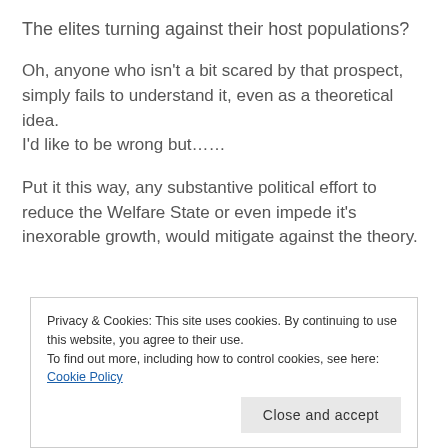The elites turning against their host populations?
Oh, anyone who isn't a bit scared by that prospect, simply fails to understand it, even as a theoretical idea.
I'd like to be wrong but……
Put it this way, any substantive political effort to reduce the Welfare State or even impede it's inexorable growth, would mitigate against the theory.
(partially visible text cut off)
Privacy & Cookies: This site uses cookies. By continuing to use this website, you agree to their use.
To find out more, including how to control cookies, see here: Cookie Policy
Close and accept